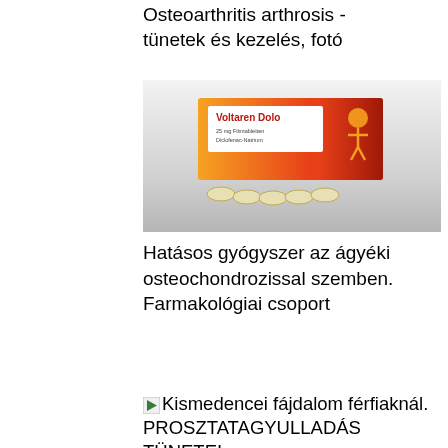Osteoarthritis arthrosis - tünetek és kezelés, fotó
[Figure (photo): Voltaren Dolo medication package box, orange and red colored, with pills in front, against grey gradient background]
Hatásos gyógyszer az ágyéki osteochondrozissal szemben. Farmakológiai csoport
[Figure (photo): Broken image placeholder for Kismedencei fájdalom férfiaknál. PROSZTATAGYULLADÁS TÜNETEI with overlay text: Rejtélyes fájdalom kinozza a férfiakat]
Rejtélyes fájdalom kinozza a férfiakat
[Figure (photo): Broken image placeholder for Az ízületi fájdalom tünetei, okai és kezelései]
Az ízületi gyulladás